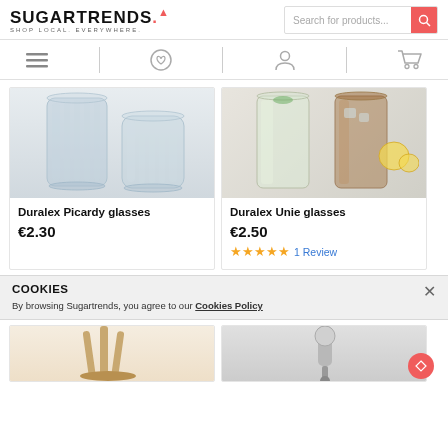[Figure (logo): Sugartrends logo with text 'SUGARTRENDS.' and tagline 'SHOP LOCAL. EVERYWHERE.']
[Figure (screenshot): Search bar with placeholder 'Search for products...' and coral search button]
[Figure (screenshot): Navigation bar with hamburger menu, heart/wishlist, user/account, and shopping cart icons]
[Figure (photo): Product image: two clear Duralex Picardy glasses]
Duralex Picardy glasses
€2.30
[Figure (photo): Product image: two Duralex Unie glasses filled with drinks, with lemons and mint]
Duralex Unie glasses
€2.50
1 Review
COOKIES
By browsing Sugartrends, you agree to our Cookies Policy
[Figure (photo): Bottom left product: wooden item, partially visible]
[Figure (photo): Bottom right product: chrome/metal item, partially visible]